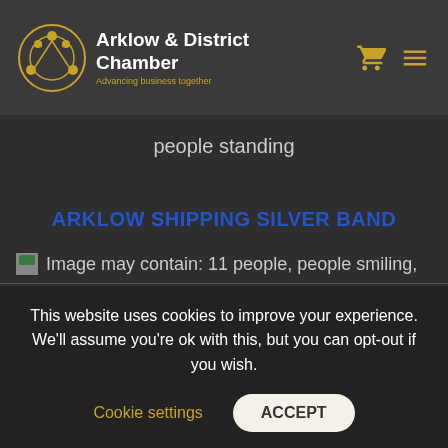Arklow & District Chamber — Advancing business together
people standing
ARKLOW SHIPPING SILVER BAND
[Figure (photo): Broken image placeholder with alt text: Image may contain: 11 people, people smiling,]
This website uses cookies to improve your experience. We'll assume you're ok with this, but you can opt-out if you wish.
Cookie settings   ACCEPT